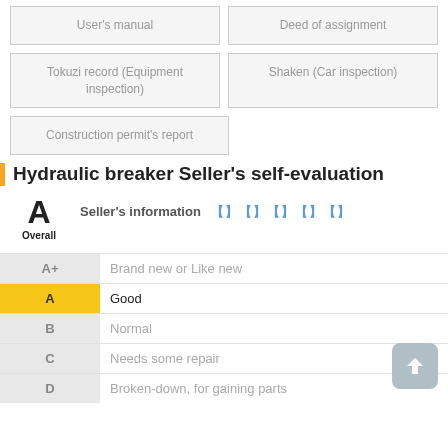User's manual
Deed of assignment
Tokuzi record (Equipment inspection)
Shaken (Car inspection)
Construction permit's report
Hydraulic breaker Seller's self-evaluation
A  Overall  Seller's information 【】【】【】【】【】
| Grade | Description |
| --- | --- |
| A+ | Brand new or Like new |
| A | Good |
| B | Normal |
| C | Needs some repair |
| D | Broken-down, for gaining parts |